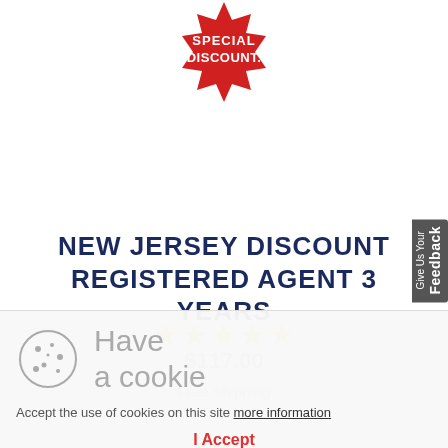[Figure (illustration): Red spiky badge/seal with white bold text 'SPECIAL DISCOUNT.' in the center]
NEW JERSEY DISCOUNT REGISTERED AGENT 3 YEARS
[Figure (illustration): Five gold star rating icons]
$117.00
Free Shipping
SELECT OPTIONS
Have a cookie
Accept the use of cookies on this site more information
I Accept
Give Us Your Feedback